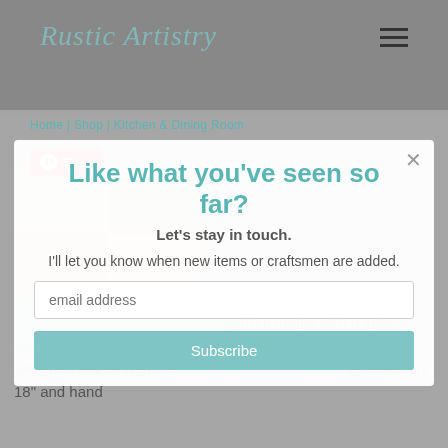Rustic Artistry
Home | Shop | Kitchen & Dining Room
Like what you've seen so far?
Let's stay in touch.
I'll let you know when new items or craftsmen are added.
[Figure (photo): Product image showing Treehouse Chairs in a grid of four photo thumbnails]
Treehouse Chairs
$495
email address
Subscribe
These whimsical chairs are made from maple with a spruce seat, hand carved for extra comfort. They make an excellent set when paired with the Adirondack Dining Table. All seats are 18" and hand